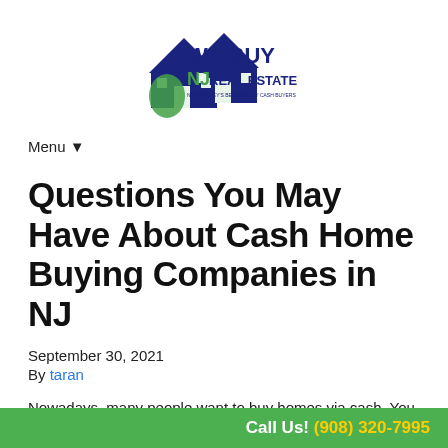[Figure (logo): We Buy NJ Real Estate logo with house graphic in blue and green]
Menu ▼
Questions You May Have About Cash Home Buying Companies in NJ
September 30, 2021
By taran
Nowadays, many people want to buy homes via cash. You
Call Us! (908) 320-7995